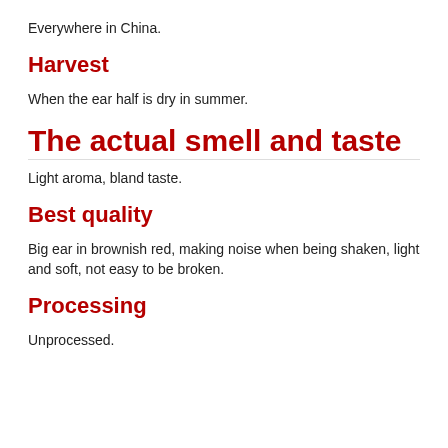Everywhere in China.
Harvest
When the ear half is dry in summer.
The actual smell and taste
Light aroma, bland taste.
Best quality
Big ear in brownish red, making noise when being shaken, light and soft, not easy to be broken.
Processing
Unprocessed.